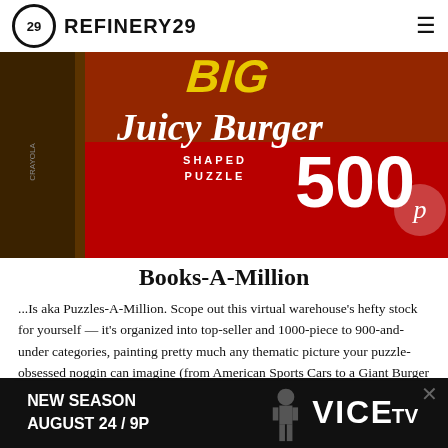REFINERY29
[Figure (photo): Big Juicy Burger Shaped Puzzle 500 pieces box, red background, puzzle box image with burger photo]
Books-A-Million
...Is aka Puzzles-A-Million. Scope out this virtual warehouse's hefty stock for yourself — it's organized into top-seller and 1000-piece to 900-and-under categories, painting pretty much any thematic picture your puzzle-obsessed noggin can imagine (from American Sports Cars to a Giant Burger and The Legend of Zelda).
Shop Books A Million
[Figure (photo): VICE TV advertisement banner: NEW SEASON AUGUST 24 / 9P with silhouette figure]